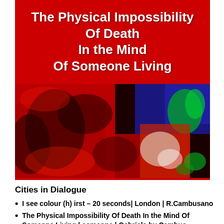The Physical Impossibility Of Death In the Mind Of Someone Living
[Figure (photo): Abstract colorful painting with red, blue, green, and white brushstrokes on a dark background]
Cities in Dialogue
I see colour (h) irst – 20 seconds| London | R.Cambusano
The Physical Impossibility Of Death In the Mind Of Someone Living | someone | Gabriela by Cambusa...